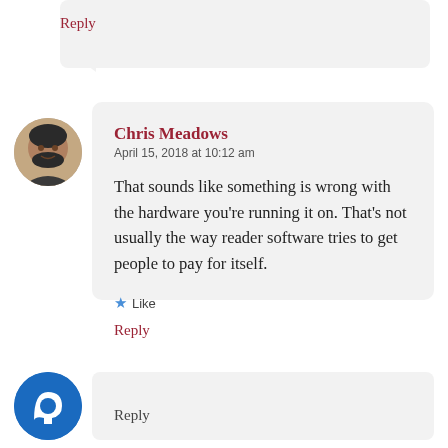Reply
Chris Meadows
April 15, 2018 at 10:12 am

That sounds like something is wrong with the hardware you're running it on. That's not usually the way reader software tries to get people to pay for itself.
★ Like
Reply
Reply